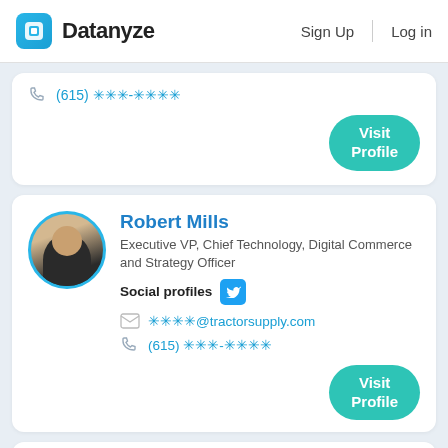Datanyze   Sign Up   Log in
(615) ✳✳✳-✳✳✳✳
Visit Profile
Robert Mills
Executive VP, Chief Technology, Digital Commerce and Strategy Officer
Social profiles
✳✳✳✳@tractorsupply.com
(615) ✳✳✳-✳✳✳✳
Visit Profile